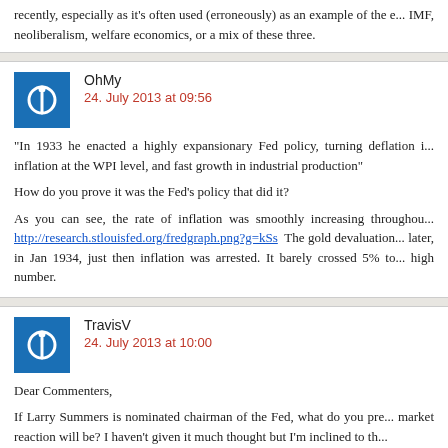recently, especially as it's often used (erroneously) as an example of the e... IMF, neoliberalism, welfare economics, or a mix of these three.
OhMy
24. July 2013 at 09:56
“In 1933 he enacted a highly expansionary Fed policy, turning deflation i... inflation at the WPI level, and fast growth in industrial production"

How do you prove it was the Fed’s policy that did it?

As you can see, the rate of inflation was smoothly increasing throughou... http://research.stlouisfed.org/fredgraph.png?g=kSs The gold devaluation... later, in Jan 1934, just then inflation was arrested. It barely crossed 5% to... high number.
TravisV
24. July 2013 at 10:00
Dear Commenters,

If Larry Summers is nominated chairman of the Fed, what do you pre... market reaction will be? I haven’t given it much thought but I’m inclined to th...